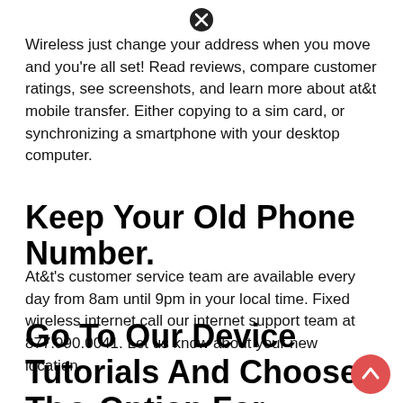Wireless just change your address when you move and you're all set! Read reviews, compare customer ratings, see screenshots, and learn more about at&t mobile transfer. Either copying to a sim card, or synchronizing a smartphone with your desktop computer.
Keep Your Old Phone Number.
At&t's customer service team are available every day from 8am until 9pm in your local time. Fixed wireless internet call our internet support team at 877.990.0041. Let us know about your new location.
Go To Our Device Tutorials And Choose The Option For